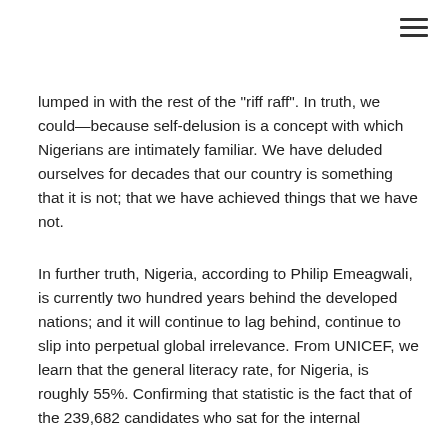lumped in with the rest of the "riff raff". In truth, we could—because self-delusion is a concept with which Nigerians are intimately familiar. We have deluded ourselves for decades that our country is something that it is not; that we have achieved things that we have not.
In further truth, Nigeria, according to Philip Emeagwali, is currently two hundred years behind the developed nations; and it will continue to lag behind, continue to slip into perpetual global irrelevance. From UNICEF, we learn that the general literacy rate, for Nigeria, is roughly 55%. Confirming that statistic is the fact that of the 239,682 candidates who sat for the internal